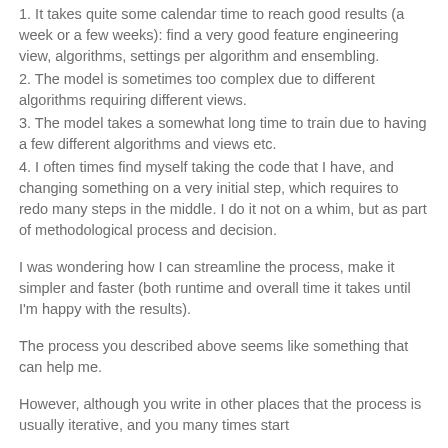1. It takes quite some calendar time to reach good results (a week or a few weeks): find a very good feature engineering view, algorithms, settings per algorithm and ensembling.
2. The model is sometimes too complex due to different algorithms requiring different views.
3. The model takes a somewhat long time to train due to having a few different algorithms and views etc.
4. I often times find myself taking the code that I have, and changing something on a very initial step, which requires to redo many steps in the middle. I do it not on a whim, but as part of methodological process and decision.
I was wondering how I can streamline the process, make it simpler and faster (both runtime and overall time it takes until I'm happy with the results).
The process you described above seems like something that can help me.
However, although you write in other places that the process is usually iterative, and you many times start